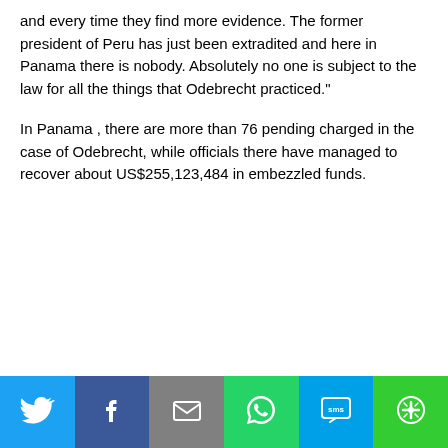and every time they find more evidence. The former president of Peru has just been extradited and here in Panama there is nobody. Absolutely no one is subject to the law for all the things that Odebrecht practiced."
In Panama , there are more than 76 pending charged in the case of Odebrecht, while officials there have managed to recover about US$255,123,484 in embezzled funds.
[Figure (infographic): Social media sharing bar with buttons for Twitter, Facebook, Email, WhatsApp, SMS, and More]